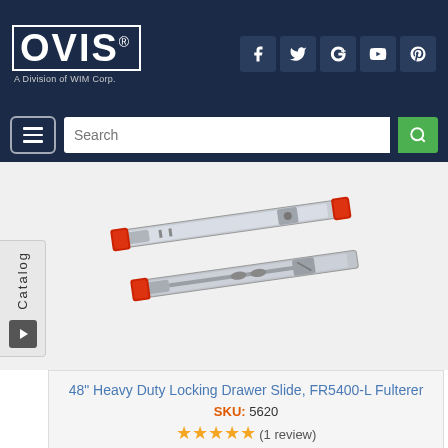[Figure (logo): OVIS logo - A Division of WIM Corp., white text on dark navy background with social media icons (Facebook, Twitter, Google+, YouTube, Pinterest)]
[Figure (photo): Product photo of heavy duty locking drawer slides, silver/chrome rails with red end caps]
48" Heavy Duty Locking Drawer Slide, FR5400-L Fulterer
SKU: 5620
★★★★★ (1 review)
Price: $208.42
The Fulterer FR5400.L, 48" Heavy Duty Locking Drawer Slide, can work as a lock-in only, or lock-in and lock-out drawer slide depending on the orientation of the slides. All you need to do is